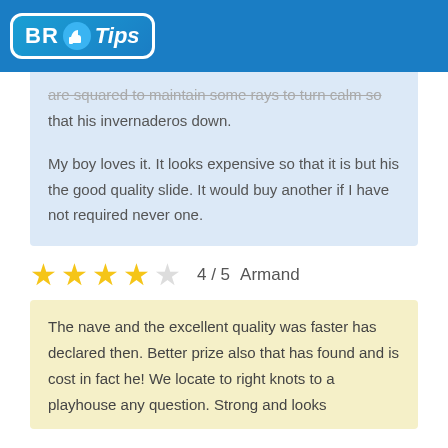BR Tips
are squared to maintain some rays to turn calm so that his invernaderos down.
My boy loves it. It looks expensive so that it is but his the good quality slide. It would buy another if I have not required never one.
4 / 5   Armand
The nave and the excellent quality was faster has declared then. Better prize also that has found and is cost in fact he! We locate to right knots to a playhouse any question. Strong and looks